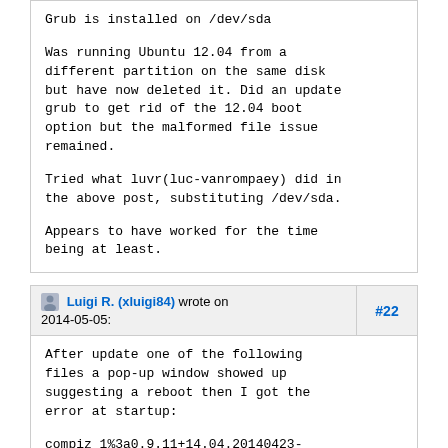Grub is installed on /dev/sda

Was running Ubuntu 12.04 from a different partition on the same disk but have now deleted it. Did an update grub to get rid of the 12.04 boot option but the malformed file issue remained.

Tried what luvr(luc-vanrompaey) did in the above post, substituting /dev/sda.

Appears to have worked for the time being at least.
Luigi R. (xluigi84) wrote on 2014-05-05:  #22
After update one of the following files a pop-up window showed up suggesting a reboot then I got the error at startup:

compiz_1%3a0.9.11+14.04.20140423-0ubuntu1_all.deb compiz-core_1%3a0.9.11+14.04.20140423-0ubuntu1_amd64.deb